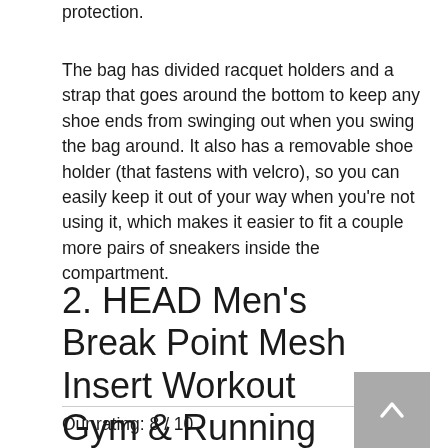protection.
The bag has divided racquet holders and a strap that goes around the bottom to keep any shoe ends from swinging out when you swing the bag around. It also has a removable shoe holder (that fastens with velcro), so you can easily keep it out of your way when you're not using it, which makes it easier to fit a couple more pairs of sneakers inside the compartment.
2. HEAD Men's Break Point Mesh Insert Workout Gym & Running Shorts
Our rating: 8 / 10